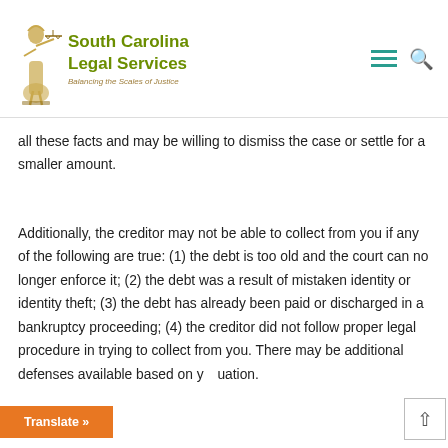[Figure (logo): South Carolina Legal Services logo with Lady Justice holding scales, olive/gold colored illustration]
South Carolina Legal Services — Balancing the Scales of Justice
all these facts and may be willing to dismiss the case or settle for a smaller amount.
Additionally, the creditor may not be able to collect from you if any of the following are true: (1) the debt is too old and the court can no longer enforce it; (2) the debt was a result of mistaken identity or identity theft; (3) the debt has already been paid or discharged in a bankruptcy proceeding; (4) the creditor did not follow proper legal procedure in trying to collect from you. There may be additional defenses available based on y…uation.